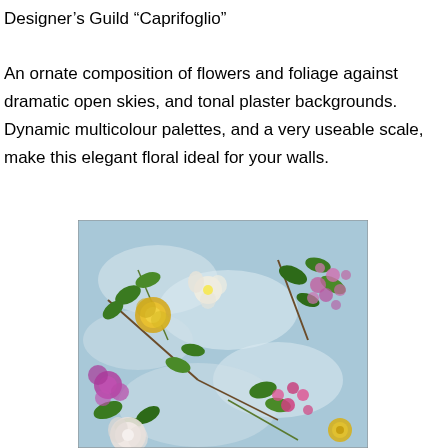Designer's Guild “Caprifoglio”
An ornate composition of flowers and foliage against dramatic open skies, and tonal plaster backgrounds. Dynamic multicolour palettes, and a very useable scale, make this elegant floral ideal for your walls.
[Figure (illustration): A decorative floral wallpaper design showing an ornate composition of flowers and foliage including yellow roses, pink peonies, lilacs, and white blooms against a light blue sky background with clouds. The design is the Designer's Guild 'Caprifoglio' pattern.]